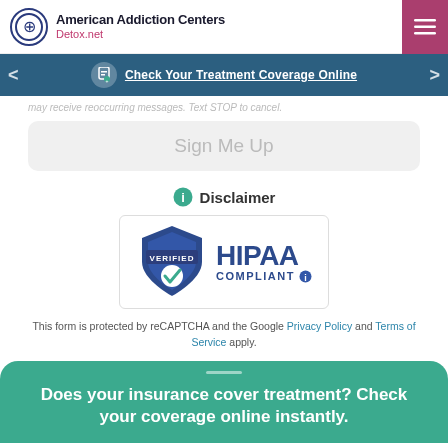American Addiction Centers Detox.net
Check Your Treatment Coverage Online
may receive reoccurring messages. Text STOP to cancel.
Sign Me Up
Disclaimer
[Figure (logo): VERIFIED HIPAA COMPLIANT badge with shield and checkmark]
This form is protected by reCAPTCHA and the Google Privacy Policy and Terms of Service apply.
Does your insurance cover treatment? Check your coverage online instantly.